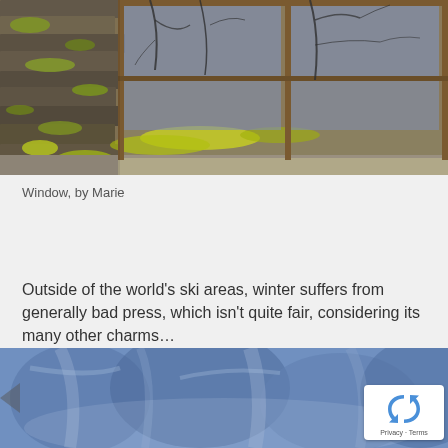[Figure (photo): Photograph of a weathered stone wall with a rustic wooden window frame, moss and lichen on stones, bare tree branches visible through the glass panes, muted earthy tones with yellow-green moss]
Window, by Marie
Outside of the world's ski areas, winter suffers from generally bad press, which isn't quite fair, considering its many other charms…
[Figure (photo): Photograph of blurred blue winter trees, cold monochromatic blue tones, abstract icy forest scene]